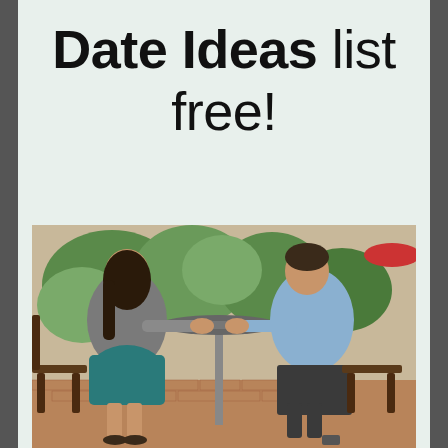Date Ideas list free!
[Figure (photo): A couple on a date sitting across from each other at an outdoor cafe table, holding hands. The woman wears a grey blazer and teal skirt; the man wears a light blue shirt and dark pants. Green plants and brick patio in the background.]